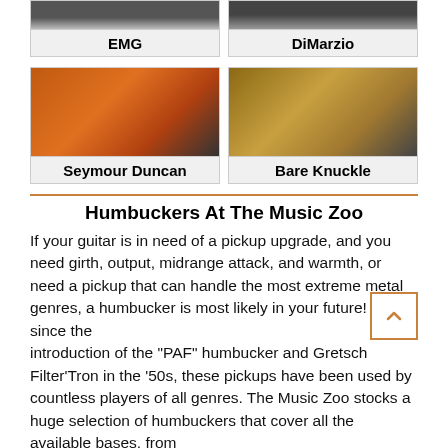[Figure (photo): Partial top image of EMG pickups, cropped at top]
EMG
[Figure (photo): Partial top image of DiMarzio pickups, cropped at top]
DiMarzio
[Figure (photo): Photo of Seymour Duncan pickups on orange background]
Seymour Duncan
[Figure (photo): Photo of Bare Knuckle pickup on sandy/dirt background]
Bare Knuckle
Humbuckers At The Music Zoo
If your guitar is in need of a pickup upgrade, and you need girth, output, midrange attack, and warmth, or need a pickup that can handle the most extreme metal genres, a humbucker is most likely in your future! Ever since the introduction of the "PAF" humbucker and Gretsch Filter'Tron in the '50s, these pickups have been used by countless players of all genres. The Music Zoo stocks a huge selection of humbuckers that cover all the available bases, from modern high output Bare Knuckles and active EMG